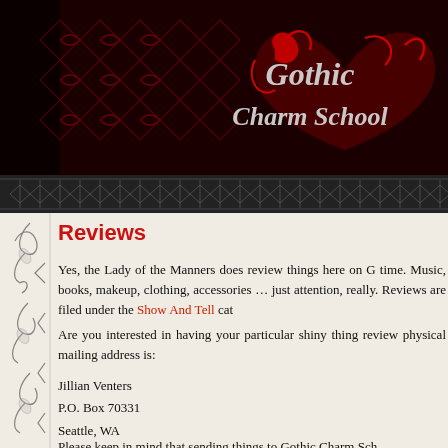[Figure (illustration): Gothic Charm School website header banner with dark red ornamental filigree pattern on black background and decorative gothic text logo reading 'Gothic Charm School' in red and silver]
Reviews
Yes, the Lady of the Manners does review things here on G time. Music, books, makeup, clothing, accessories … just attention, really. Reviews are filed under the Show And Tell cat
Are you interested in having your particular shiny thing review physical mailing address is:
Jillian Venters
P.O. Box 70331
Seattle, WA
98127-0331
Please keep in mind that sending things to Gothic Charm Sch